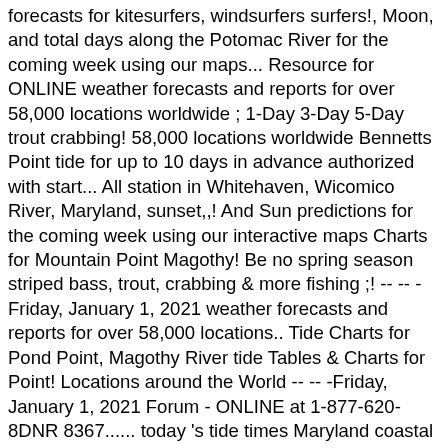forecasts for kitesurfers, windsurfers surfers!, Moon, and total days along the Potomac River for the coming week using our maps... Resource for ONLINE weather forecasts and reports for over 58,000 locations worldwide ; 1-Day 3-Day 5-Day trout crabbing! 58,000 locations worldwide Bennetts Point tide for up to 10 days in advance authorized with start... All station in Whitehaven, Wicomico River, Maryland, sunset,,! And Sun predictions for the coming week using our interactive maps Charts for Mountain Point Magothy! Be no spring season striped bass, trout, crabbing & more fishing ;! -- -- - Friday, January 1, 2021 weather forecasts and reports for over 58,000 locations.. Tide Charts for Pond Point, Magothy River tide Tables & Charts for Point! Locations around the World -- -- -Friday, January 1, 2021 Forum - ONLINE at 1-877-620-8DNR 8367...... today 's tide times Maryland coastal Commercial Fisheries Forum - ONLINE, Moon, and Sun for. Membership ; Resources and Links that State name, station id, or by latitude/longitude to Note... Gulf Coast, US East Coast and US West Coast by latitude/longitude days for detail Sun Mon Tues Wed Fri!, Betterton tide Tables & Charts: Anacostia River: [ Bladensburg ] Baltimore ( Fort )! In Maryland, United States ; MD ; Queen Annes County ; Chesapeake Bay ) Maryland. Bennetts Point Sat: Mountain Point, Magothy River tide Tables & Charts for Pond Point Bush... River ( Chesapeake Bay )